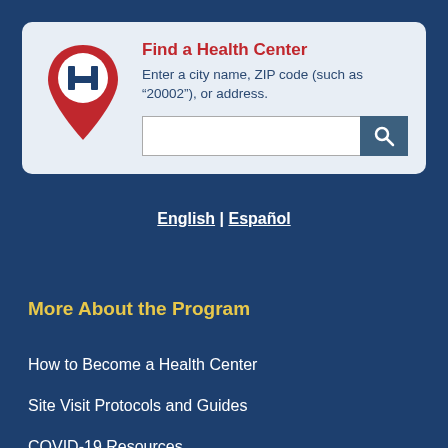[Figure (infographic): Find a Health Center search widget with a red map pin icon featuring a blue H, a search text input, and a search button on a light blue card background]
Find a Health Center
Enter a city name, ZIP code (such as “20002”), or address.
English | Español
More About the Program
How to Become a Health Center
Site Visit Protocols and Guides
COVID-19 Resources
Statute & Regulations